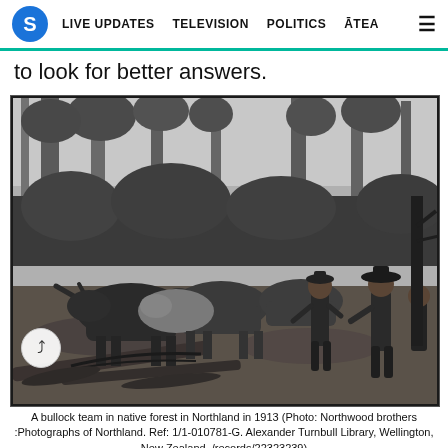S  LIVE UPDATES  TELEVISION  POLITICS  ĀTEA  ≡
to look for better answers.
[Figure (photo): A black and white historical photograph of a bullock team in a native forest in Northland, New Zealand, 1913. Several oxen with large horns are being driven by men through a forest clearing with felled trees and dense bush.]
A bullock team in native forest in Northland in 1913 (Photo: Northwood brothers :Photographs of Northland. Ref: 1/1-010781-G. Alexander Turnbull Library, Wellington, New Zealand. /records/22323239)